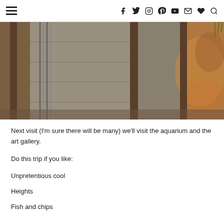≡  f  𝕥  ⊙  𝕡  ▶  ✉  ♥  🔍
[Figure (photo): Close-up photograph of old railway tracks with rusted rails, stone slabs, and weathered soil with orange/brown coloring on the right side.]
Next visit (I'm sure there will be many) we'll visit the aquarium and the art gallery.
Do this trip if you like:
Unpretentious cool
Heights
Fish and chips